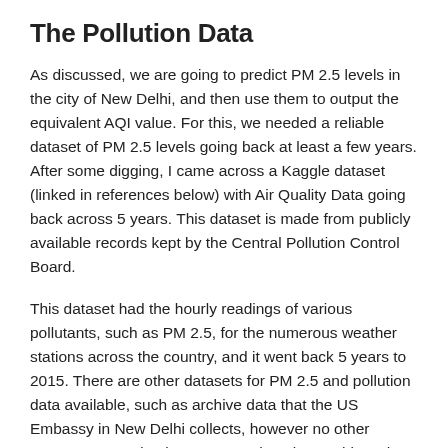The Pollution Data
As discussed, we are going to predict PM 2.5 levels in the city of New Delhi, and then use them to output the equivalent AQI value. For this, we needed a reliable dataset of PM 2.5 levels going back at least a few years. After some digging, I came across a Kaggle dataset (linked in references below) with Air Quality Data going back across 5 years. This dataset is made from publicly available records kept by the Central Pollution Control Board.
This dataset had the hourly readings of various pollutants, such as PM 2.5, for the numerous weather stations across the country, and it went back 5 years to 2015. There are other datasets for PM 2.5 and pollution data available, such as archive data that the US Embassy in New Delhi collects, however no other sources seemed to be as comprehensive as this. Other sources kept only daily or monthly records.
Looking at the average monthly PM 2.5 levels, we can see that the winter months in Delhi really do see a sharp rise in pollution,